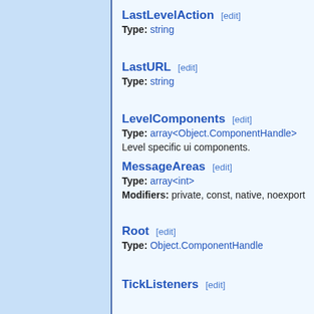LastLevelAction [edit]
Type: string
LastURL [edit]
Type: string
LevelComponents [edit]
Type: array<Object.ComponentHandle>
Level specific ui components.
MessageAreas [edit]
Type: array<int>
Modifiers: private, const, native, noexport
Root [edit]
Type: Object.ComponentHandle
TickListeners [edit]